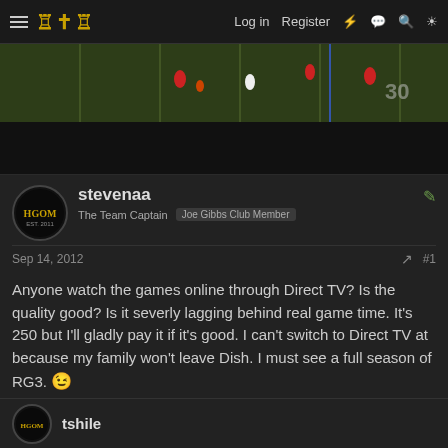HGOM | Log in | Register
[Figure (screenshot): Football game screenshot showing players on green field with yard lines]
stevenaa
The Team Captain   Joe Gibbs Club Member
Sep 14, 2012   #1
Anyone watch the games online through Direct TV? Is the quality good? Is it severly lagging behind real game time. It's 250 but I'll gladly pay it if it's good. I can't switch to Direct TV at because my family won't leave Dish. I must see a full season of RG3. 😉
tshile